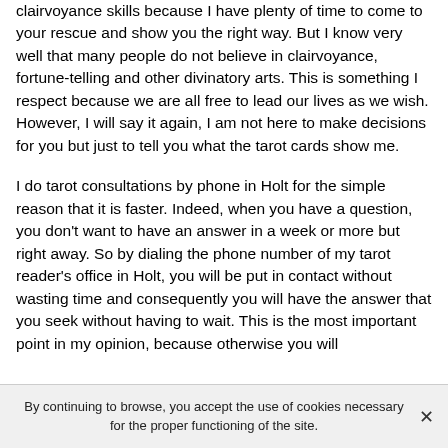clairvoyance skills because I have plenty of time to come to your rescue and show you the right way. But I know very well that many people do not believe in clairvoyance, fortune-telling and other divinatory arts. This is something I respect because we are all free to lead our lives as we wish. However, I will say it again, I am not here to make decisions for you but just to tell you what the tarot cards show me.
I do tarot consultations by phone in Holt for the simple reason that it is faster. Indeed, when you have a question, you don't want to have an answer in a week or more but right away. So by dialing the phone number of my tarot reader's office in Holt, you will be put in contact without wasting time and consequently you will have the answer that you seek without having to wait. This is the most important point in my opinion, because otherwise you will
By continuing to browse, you accept the use of cookies necessary for the proper functioning of the site.